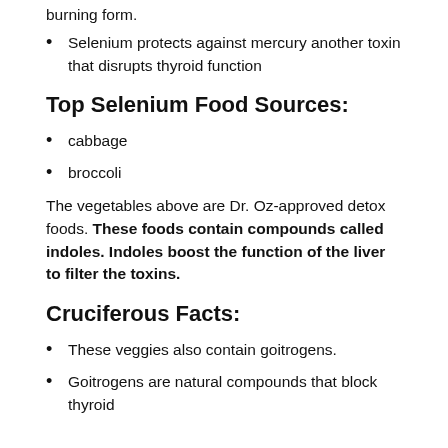burning form.
Selenium protects against mercury another toxin that disrupts thyroid function
Top Selenium Food Sources:
cabbage
broccoli
The vegetables above are Dr. Oz-approved detox foods. These foods contain compounds called indoles. Indoles boost the function of the liver to filter the toxins.
Cruciferous Facts:
These veggies also contain goitrogens.
Goitrogens are natural compounds that block thyroid